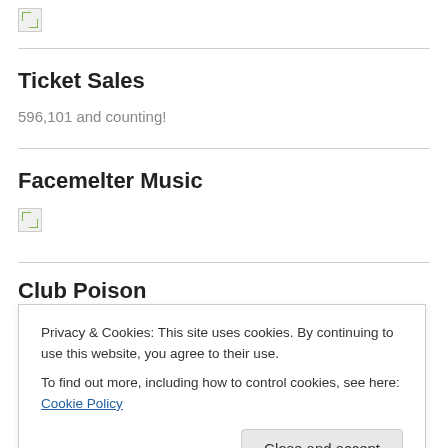[Figure (other): Broken/placeholder image icon at top of page]
Ticket Sales
596,101 and counting!
Facemelter Music
[Figure (other): Broken/placeholder image icon under Facemelter Music]
Club Poison
Privacy & Cookies: This site uses cookies. By continuing to use this website, you agree to their use.
To find out more, including how to control cookies, see here: Cookie Policy
[Figure (other): Broken/placeholder image icon at bottom of page]